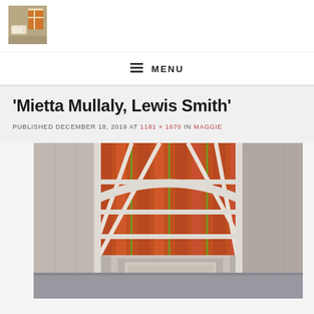[Figure (photo): Small logo thumbnail showing an interior scene with cushion/pillow on a shelf]
≡ MENU
'Mietta Mullaly, Lewis Smith'
PUBLISHED DECEMBER 18, 2019 AT 1181 × 1670 IN MAGGIE
[Figure (photo): Interior architectural photograph showing arched windows with orange/red striped panels and white structural elements, with a partial view of an artwork or signage at the bottom]